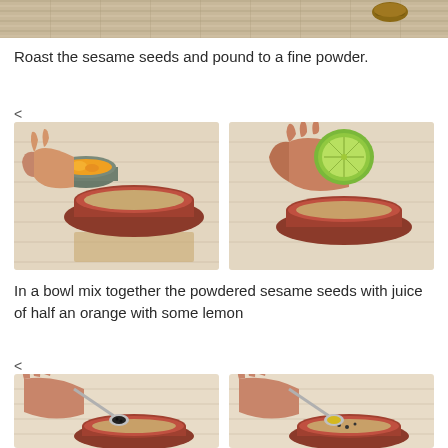[Figure (photo): Top portion of a recipe photo showing fabric/cloth background with a wooden pestle]
Roast the sesame seeds and pound to a fine powder.
[Figure (photo): Two side-by-side photos: left shows a hand pouring orange juice into a red bowl filled with sesame seed powder; right shows a hand squeezing a lime half into the red bowl]
In a bowl mix together the powdered sesame seeds with juice of half an orange with some lemon
[Figure (photo): Two side-by-side photos: left shows a hand adding black pepper from a spoon into a red bowl; right shows a hand adding a yellow ingredient (mustard/turmeric) from a spoon into the red bowl]